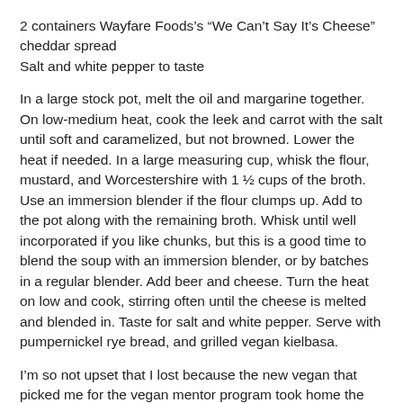2 containers Wayfare Foods's “We Can’t Say It’s Cheese” cheddar spread
Salt and white pepper to taste
In a large stock pot, melt the oil and margarine together. On low-medium heat, cook the leek and carrot with the salt until soft and caramelized, but not browned. Lower the heat if needed. In a large measuring cup, whisk the flour, mustard, and Worcestershire with 1 ½ cups of the broth. Use an immersion blender if the flour clumps up. Add to the pot along with the remaining broth. Whisk until well incorporated if you like chunks, but this is a good time to blend the soup with an immersion blender, or by batches in a regular blender. Add beer and cheese. Turn the heat on low and cook, stirring often until the cheese is melted and blended in. Taste for salt and white pepper. Serve with pumpernickel rye bread, and grilled vegan kielbasa.
I’m so not upset that I lost because the new vegan that picked me for the vegan mentor program took home the prize! Also, I have a ton of leftover German beer that I should probably not drink whilst blogging. Urp.